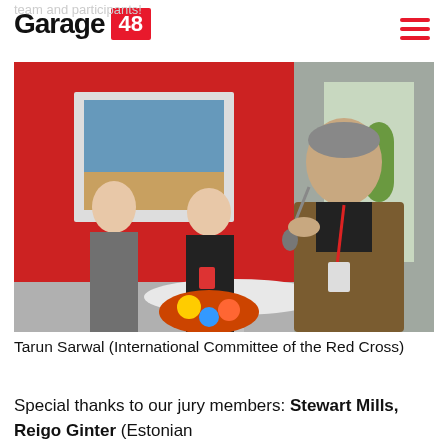team and participants!
Garage 48
[Figure (photo): A man in a brown jacket holding a microphone and speaking, with two women seated in the background at an event with red decor.]
Tarun Sarwal (International Committee of the Red Cross)
Special thanks to our jury members: Stewart Mills, Reigo Ginter (Estonian